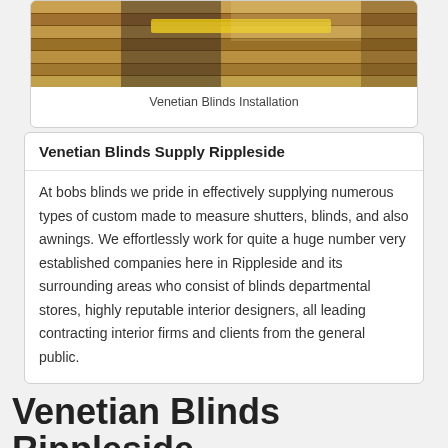[Figure (photo): Photo of venetian blinds installation — hands holding a measuring tape near a window blind]
Venetian Blinds Installation
Venetian Blinds Supply Rippleside
At bobs blinds we pride in effectively supplying numerous types of custom made to measure shutters, blinds, and also awnings. We effortlessly work for quite a huge number very established companies here in Rippleside and its surrounding areas who consist of blinds departmental stores, highly reputable interior designers, all leading contracting interior firms and clients from the general public.
Venetian Blinds Rippleside